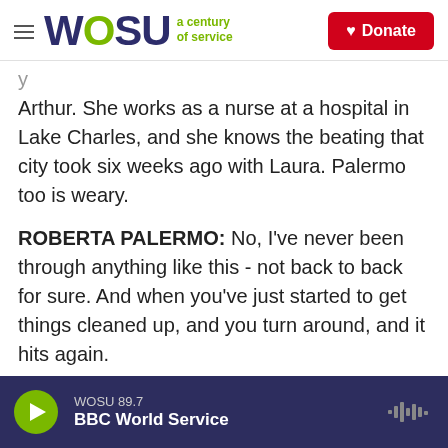WOSU a century of service | Donate
Arthur. She works as a nurse at a hospital in Lake Charles, and she knows the beating that city took six weeks ago with Laura. Palermo too is weary.
ROBERTA PALERMO: No, I've never been through anything like this - not back to back for sure. And when you've just started to get things cleaned up, and you turn around, and it hits again.
BURNETT: She says her sentiments in 2020 are pretty much summed up by the message on her T-shirt - I got this, signed God.
WOSU 89.7 BBC World Service